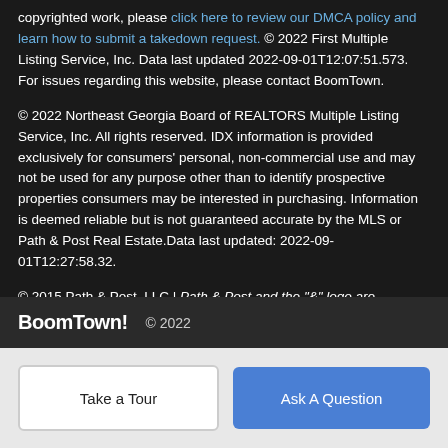copyrighted work, please click here to review our DMCA policy and learn how to submit a takedown request. © 2022 First Multiple Listing Service, Inc. Data last updated 2022-09-01T12:07:51.573. For issues regarding this website, please contact BoomTown.
© 2022 Northeast Georgia Board of REALTORS Multiple Listing Service, Inc. All rights reserved. IDX information is provided exclusively for consumers' personal, non-commercial use and may not be used for any purpose other than to identify prospective properties consumers may be interested in purchasing. Information is deemed reliable but is not guaranteed accurate by the MLS or Path & Post Real Estate.Data last updated: 2022-09-01T12:27:58.32.
© 2015 Path & Post, LLC | Path & Post and the "&" logo are registered service marks.
BoomTown! © 2022
Take a Tour
Ask A Question